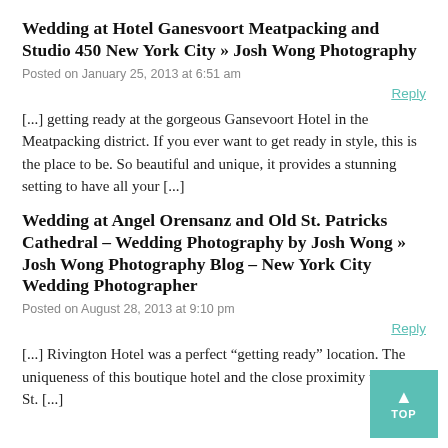Wedding at Hotel Ganesvoort Meatpacking and Studio 450 New York City » Josh Wong Photography
Posted on January 25, 2013 at 6:51 am
Reply
[…] getting ready at the gorgeous Gansevoort Hotel in the Meatpacking district. If you ever want to get ready in style, this is the place to be. So beautiful and unique, it provides a stunning setting to have all your […]
Wedding at Angel Orensanz and Old St. Patricks Cathedral – Wedding Photography by Josh Wong » Josh Wong Photography Blog – New York City Wedding Photographer
Posted on August 28, 2013 at 9:10 pm
Reply
[…] Rivington Hotel was a perfect “getting ready” location. The uniqueness of this boutique hotel and the close proximity to Old St. […]